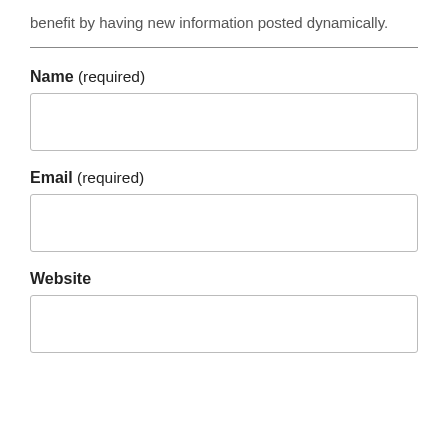benefit by having new information posted dynamically.
Name (required)
Email (required)
Website